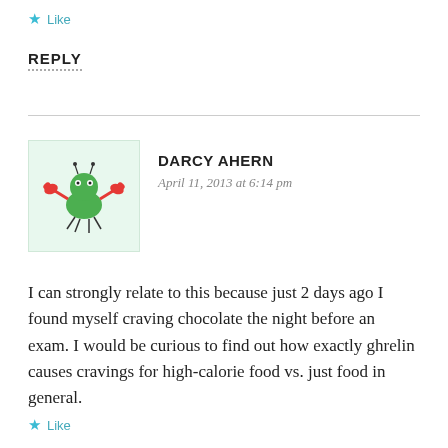★ Like
REPLY
[Figure (illustration): Avatar image of a cartoon green crab-like character with red claws on a light green background]
DARCY AHERN
April 11, 2013 at 6:14 pm
I can strongly relate to this because just 2 days ago I found myself craving chocolate the night before an exam. I would be curious to find out how exactly ghrelin causes cravings for high-calorie food vs. just food in general.
★ Like